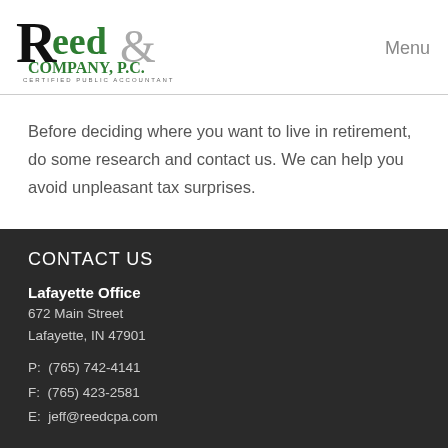[Figure (logo): Reed & Company, P.C. Certified Public Accountants logo]
Menu
Before deciding where you want to live in retirement, do some research and contact us. We can help you avoid unpleasant tax surprises.
CONTACT US
Lafayette Office
672 Main Street
Lafayette, IN 47901
P:  (765) 742-4141
F:  (765) 423-2581
E:  jeff@reedcpa.com